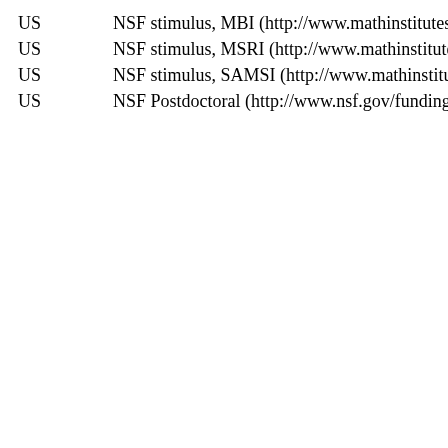US    NSF stimulus, MBI (http://www.mathinstitutes.org/institute
US    NSF stimulus, MSRI (http://www.mathinstitutes.org/institu
US    NSF stimulus, SAMSI (http://www.mathinstitutes.org/insti
US    NSF Postdoctoral (http://www.nsf.gov/funding/pgm_summ